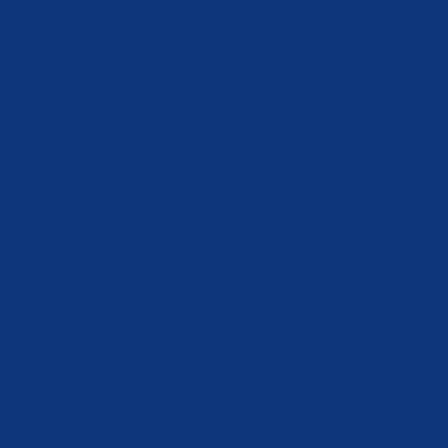1 7 at 6:07 pm
The French needed Russia to sand wich th